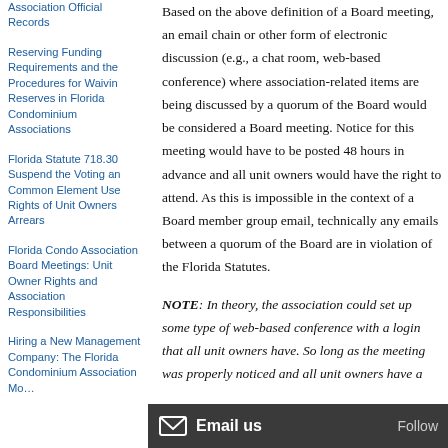Association Official Records
Reserving Funding Requirements and the Procedures for Waivin Reserves in Florida Condominium Associations
Florida Statute 718.30 Suspend the Voting an Common Element Use Rights of Unit Owners Arrears
Florida Condo Association Board Meetings: Unit Owner Rights and Association Responsibilities
Hiring a New Management Company: The Florida Condominium Association Mo…
Based on the above definition of a Board meeting, an email chain or other form of electronic discussion (e.g., a chat room, web-based conference) where association-related items are being discussed by a quorum of the Board would be considered a Board meeting. Notice for this meeting would have to be posted 48 hours in advance and all unit owners would have the right to attend. As this is impossible in the context of a Board member group email, technically any emails between a quorum of the Board are in violation of the Florida Statutes.
NOTE: In theory, the association could set up some type of web-based conference with a login that all unit owners have. So long as the meeting was properly noticed and all unit owners have a…